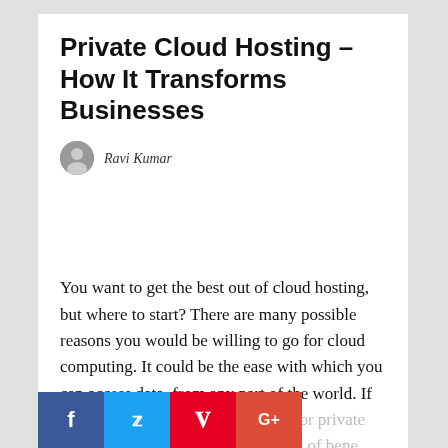Private Cloud Hosting – How It Transforms Businesses
Ravi Kumar
You want to get the best out of cloud hosting, but where to start? There are many possible reasons you would be willing to go for cloud computing. It could be the ease with which you can access data, from any part of the world. If so, you would perhaps be looking for private cloud hosting. Private cloud ho... types of bene...